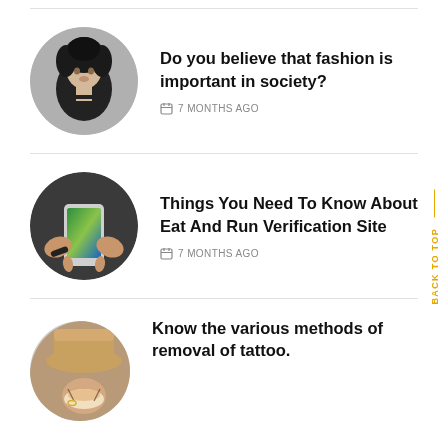[Figure (photo): Black and white portrait of a woman with curly hair]
Do you believe that fashion is important in society?
7 MONTHS AGO
[Figure (photo): Hands holding a smartphone with colorful screen]
Things You Need To Know About Eat And Run Verification Site
7 MONTHS AGO
[Figure (photo): Person with tattoo and food]
Know the various methods of removal of tattoo.